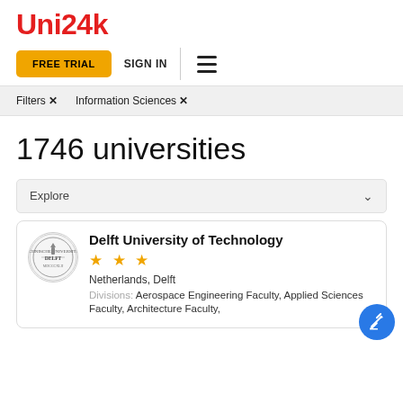Uni24k
FREE TRIAL   SIGN IN
Filters ✕   Information Sciences ✕
1746 universities
Explore
Delft University of Technology
★★★
Netherlands, Delft
Divisions: Aerospace Engineering Faculty, Applied Sciences Faculty, Architecture Faculty,